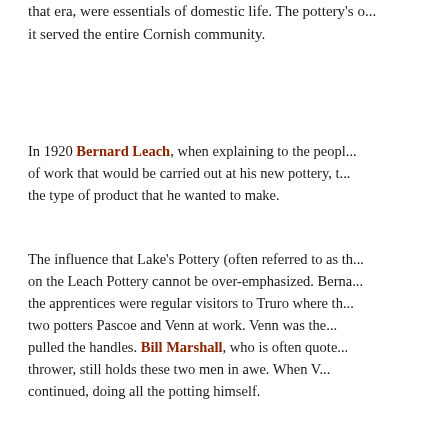that era, were essentials of domestic life. The pottery's o... it served the entire Cornish community.
In 1920 Bernard Leach, when explaining to the people of work that would be carried out at his new pottery, the type of product that he wanted to make.
The influence that Lake's Pottery (often referred to as the on the Leach Pottery cannot be over-emphasized. Berna... the apprentices were regular visitors to Truro where th... two potters Pascoe and Venn at work. Venn was the pulled the handles. Bill Marshall, who is often quote... thrower, still holds these two men in awe. When V... continued, doing all the potting himself.
Henry Venn had previously owned his own pottery in the end of World War One, and the shortage of men th... to work for Lake's in 1920 taking Barry Pascoe with him...
Another of Lake's potters who joined the company a... Michael Edwards who went on later to Bolingey Potter...